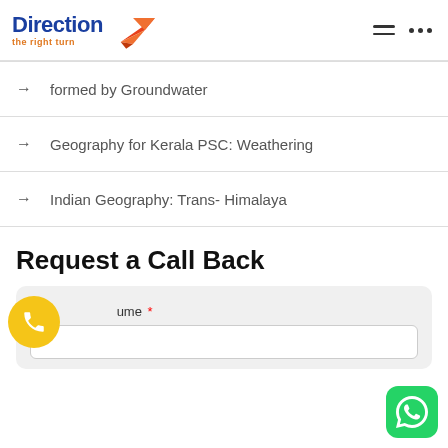[Figure (logo): Direction - the right turn logo with blue text and orange bird graphic]
formed by Groundwater
Geography for Kerala PSC: Weathering
Indian Geography: Trans- Himalaya
Request a Call Back
Name *